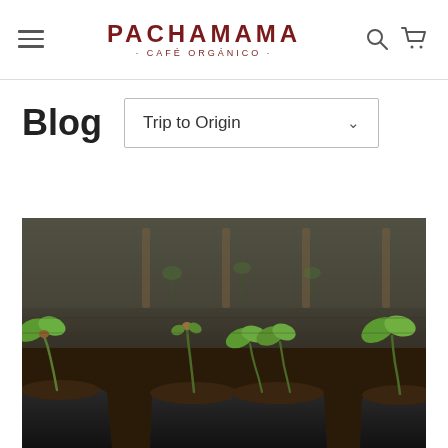PACHAMAMA · CAFÉ ORGÁNICO ·
Blog
Trip to Origin
[Figure (photo): Young coffee seedlings growing in black plastic nursery pots filled with dark soil, in a greenhouse or nursery setting with blurred background of more seedlings and wooden posts.]